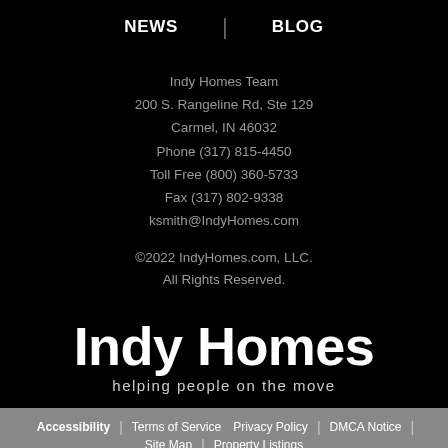NEWS | BLOG
Indy Homes Team
200 S. Rangeline Rd, Ste 129
Carmel, IN 46032
Phone (317) 815-4450
Toll Free (800) 360-5733
Fax (317) 802-9338
ksmith@IndyHomes.com
©2022 IndyHomes.com, LLC.
All Rights Reserved.
[Figure (logo): Indy Homes logo with tagline 'helping people on the move']
Accessibility | Terms of Service  Privacy Policy | DMCA Notice | Site Map | Property Listings